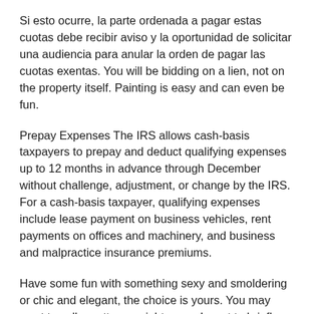Si esto ocurre, la parte ordenada a pagar estas cuotas debe recibir aviso y la oportunidad de solicitar una audiencia para anular la orden de pagar las cuotas exentas. You will be bidding on a lien, not on the property itself. Painting is easy and can even be fun.
Prepay Expenses The IRS allows cash-basis taxpayers to prepay and deduct qualifying expenses up to 12 months in advance through December without challenge, adjustment, or change by the IRS. For a cash-basis taxpayer, qualifying expenses include lease payment on business vehicles, rent payments on offices and machinery, and business and malpractice insurance premiums.
Have some fun with something sexy and smoldering or chic and elegant, the choice is yours. You may want to call an attorney right away. I want to briefly discuss five different strategies that can be powerful tools in lowering your tax bill.